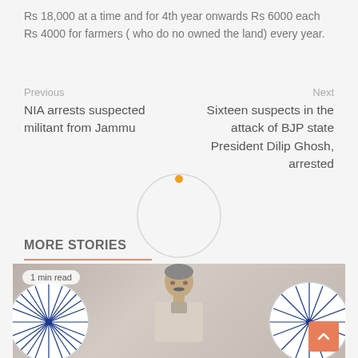Rs 18,000 at a time and for 4th year onwards Rs 6000 each Rs 4000 for farmers ( who do no owned the land) every year.
Previous
NIA arrests suspected militant from Jammu
Next
Sixteen suspects in the attack of BJP state President Dilip Ghosh, arrested
MORE STORIES
[Figure (photo): A man speaking, flanked by Indian flag wheels (Ashoka chakra). A '1 min read' badge is visible. An orange scroll-to-top button is in the bottom right.]